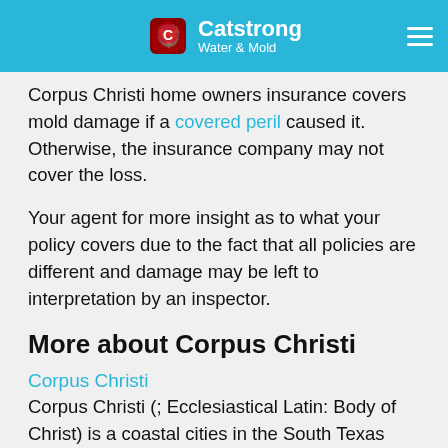Catstrong Water & Mold
Corpus Christi home owners insurance covers mold damage if a covered peril caused it. Otherwise, the insurance company may not cover the loss.
Your agent for more insight as to what your policy covers due to the fact that all policies are different and damage may be left to interpretation by an inspector.
More about Corpus Christi
Corpus Christi
Corpus Christi (; Ecclesiastical Latin: Body of Christ) is a coastal cities in the South Texas region of the U.S. state of Texas. The county seat of Nueces County, it also extends into Aransas, Kleberg, and San Patricio Counties. It is 130 miles southeast of San Antonio. Its political boundaries encompass